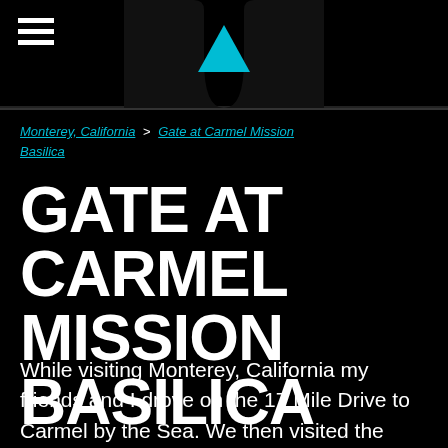Navigation bar with hamburger menu and cyan dropdown triangle
Monterey, California > Gate at Carmel Mission Basilica
GATE AT CARMEL MISSION BASILICA
While visiting Monterey, California my friends and I drove on the 17 Mile Drive to Carmel by the Sea. We then visited the Carmel Mission Basilica which was a really cool and neat